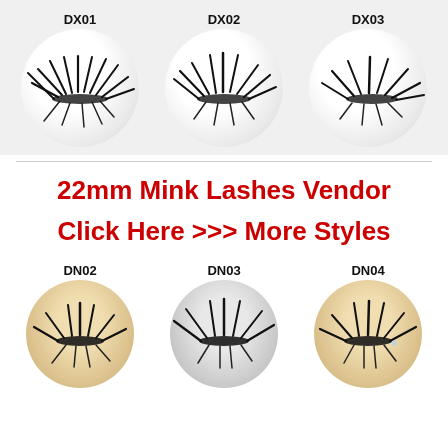[Figure (photo): Three circular displays of mink false eyelashes labeled DX01, DX02, DX03 on light gray backgrounds]
22mm Mink Lashes Vendor
Click Here >>> More Styles
[Figure (photo): Three circular displays of mink false eyelashes labeled DN02, DN03, DN04 on beige/gray backgrounds, partially cropped]